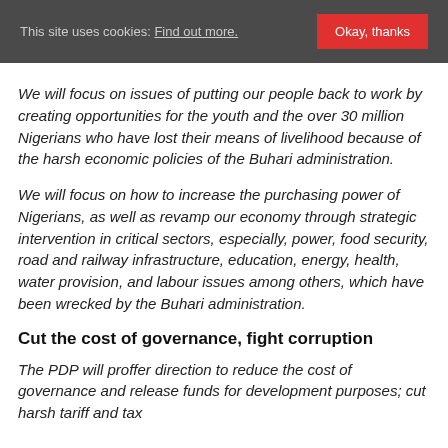This site uses cookies: Find out more. Okay, thanks
We will focus on issues of putting our people back to work by creating opportunities for the youth and the over 30 million Nigerians who have lost their means of livelihood because of the harsh economic policies of the Buhari administration.
We will focus on how to increase the purchasing power of Nigerians, as well as revamp our economy through strategic intervention in critical sectors, especially, power, food security, road and railway infrastructure, education, energy, health, water provision, and labour issues among others, which have been wrecked by the Buhari administration.
Cut the cost of governance, fight corruption
The PDP will proffer direction to reduce the cost of governance and release funds for development purposes; cut harsh tariff and tax